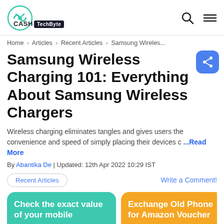Cashify TechByte
Home › Articles › Recent Articles › Samsung Wireles...
Samsung Wireless Charging 101: Everything About Samsung Wireless Chargers
Wireless charging eliminates tangles and gives users the convenience and speed of simply placing their devices c ...Read More
By Abantika De | Updated: 12th Apr 2022 10:29 IST
Recent Articles
Write a Comment!
Check the exact value of your mobile
Sell Now →
Exchange Old Phone for Amazon Voucher
Exchange Now →